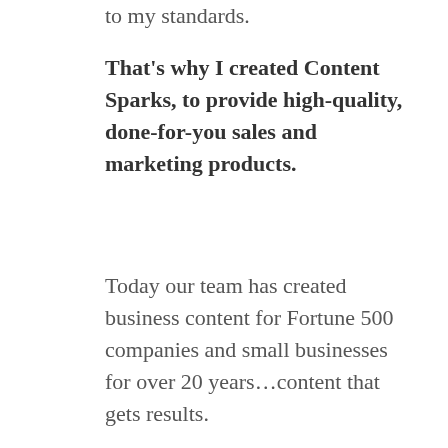to my standards.
That's why I created Content Sparks, to provide high-quality, done-for-you sales and marketing products.
Today our team has created business content for Fortune 500 companies and small businesses for over 20 years…content that gets results.